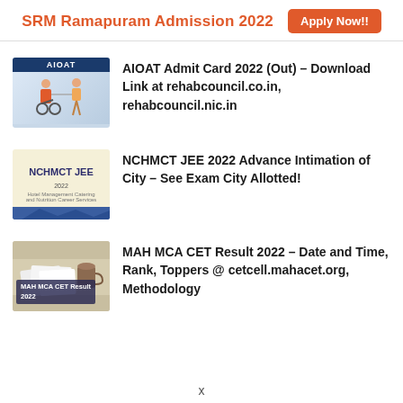SRM Ramapuram Admission 2022  Apply Now!!
AIOAT Admit Card 2022 (Out) – Download Link at rehabcouncil.co.in, rehabcouncil.nic.in
NCHMCT JEE 2022 Advance Intimation of City – See Exam City Allotted!
MAH MCA CET Result 2022 – Date and Time, Rank, Toppers @ cetcell.mahacet.org, Methodology